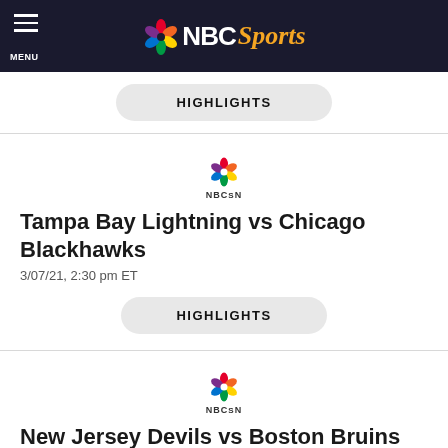NBC Sports
HIGHLIGHTS
[Figure (logo): NBCSN peacock logo]
Tampa Bay Lightning vs Chicago Blackhawks
3/07/21, 2:30 pm ET
HIGHLIGHTS
[Figure (logo): NBCSN peacock logo]
New Jersey Devils vs Boston Bruins
3/07/21, 5:00 pm ET